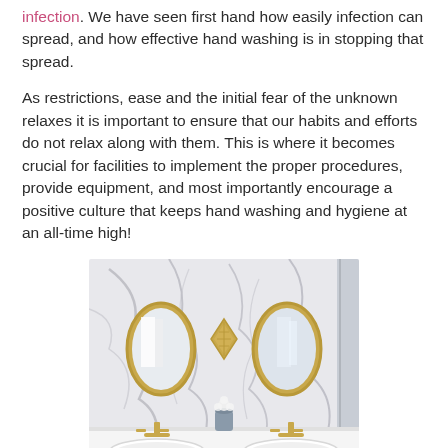infection. We have seen first hand how easily infection can spread, and how effective hand washing is in stopping that spread.

As restrictions, ease and the initial fear of the unknown relaxes it is important to ensure that our habits and efforts do not relax along with them. This is where it becomes crucial for facilities to implement the proper procedures, provide equipment, and most importantly encourage a positive culture that keeps hand washing and hygiene at an all-time high!
[Figure (photo): A modern bathroom with white marble walls featuring grey veining, two oval gold-framed mirrors, gold faucets, two white sinks on a white countertop, a grey vase with white flowers, and a gold diamond-shaped wall decoration between the mirrors.]